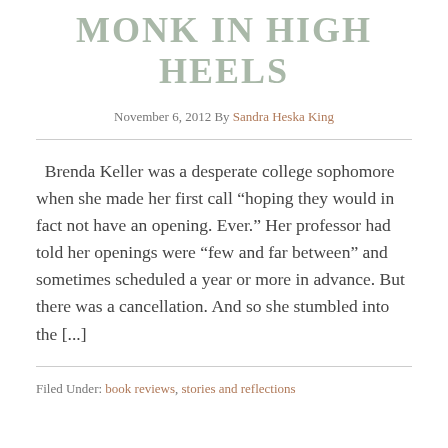MONK IN HIGH HEELS
November 6, 2012 By Sandra Heska King
Brenda Keller was a desperate college sophomore when she made her first call “hoping they would in fact not have an opening. Ever.” Her professor had told her openings were “few and far between” and sometimes scheduled a year or more in advance. But there was a cancellation. And so she stumbled into the [...]
Filed Under: book reviews, stories and reflections